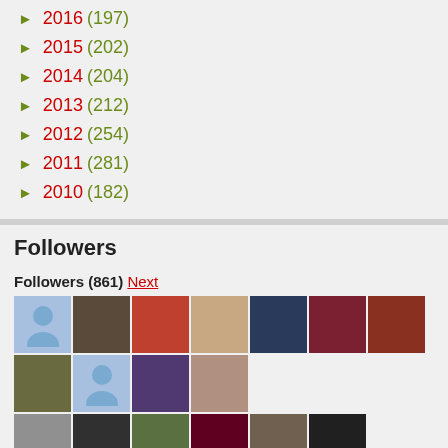► 2016 (197)
► 2015 (202)
► 2014 (204)
► 2013 (212)
► 2012 (254)
► 2011 (281)
► 2010 (182)
Followers
Followers (861) Next
[Figure (photo): Grid of follower profile photos and avatars, two rows of thumbnail images]